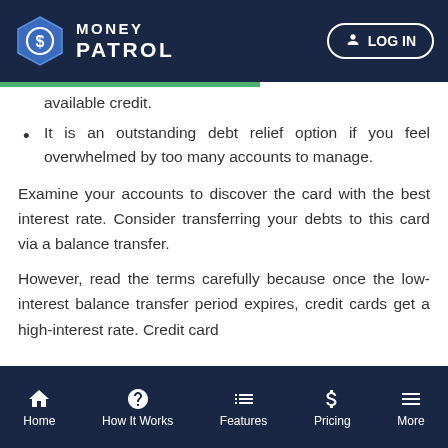MONEY PATROL — LOG IN
available credit.
It is an outstanding debt relief option if you feel overwhelmed by too many accounts to manage.
Examine your accounts to discover the card with the best interest rate. Consider transferring your debts to this card via a balance transfer.
However, read the terms carefully because once the low-interest balance transfer period expires, credit cards get a high-interest rate. Credit card
Home | How It Works | Features | Pricing | More